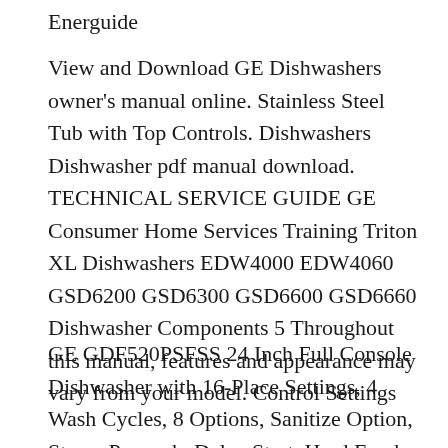Energuide
View and Download GE Dishwashers owner's manual online. Stainless Steel Tub with Top Controls. Dishwashers Dishwasher pdf manual download. TECHNICAL SERVICE GUIDE GE Consumer Home Services Training Triton XL Dishwashers EDW4000 EDW4060 GSD6200 GSD6300 GSD6600 GSD6660 Dishwasher Components 5 Throughout this manual, features and appearance may vary from your model. Control Settings
GE GDF520PSFSS 24 Inch Full Console Dishwasher with 16-Place Settings, 4 Wash Cycles, 8 Options, Sanitize Option, Steam Prewash, Delay Start, Hard Food Disposer and